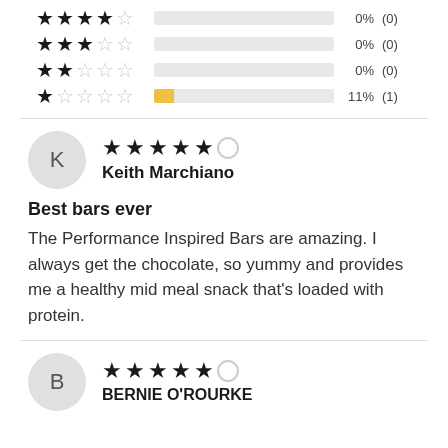4 stars: 0% (0)
3 stars: 0% (0)
2 stars: 0% (0)
1 star: 11% (1)
Keith Marchiano — 5 stars
Best bars ever
The Performance Inspired Bars are amazing. I always get the chocolate, so yummy and provides me a healthy mid meal snack that's loaded with protein.
BERNIE O'ROURKE — 5 stars